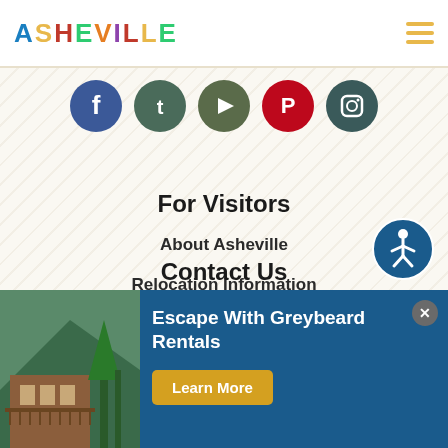ASHEVILLE
[Figure (other): Social media icon buttons row: Facebook (blue), Twitter (dark teal), YouTube (olive green), Pinterest (red), Instagram (dark teal)]
For Visitors
About Asheville
Relocation Information
Sitemap
Privacy Policy
Travel Guide
[Figure (other): Accessibility icon button - circular dark blue button with wheelchair accessible person icon]
Contact Us
[Figure (other): Advertisement banner for Greybeard Rentals showing a building/cabin photo on the left, text 'Escape With Greybeard Rentals' and a 'Learn More' button on dark blue background]